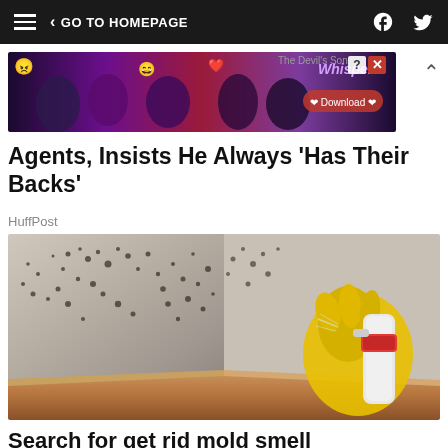≡  < GO TO HOMEPAGE  [facebook] [twitter]
[Figure (illustration): Colorful advertisement banner for a game or app called Whispers, showing multiple characters, emoji icons, and a Download button]
Agents, Insists He Always 'Has Their Backs'
HuffPost
[Figure (photo): A yellow-gloved hand holding a spray bottle aimed at a corner wall covered in black mold, with a wooden baseboard at the bottom]
Search for get rid mold smell
Yahoo Search